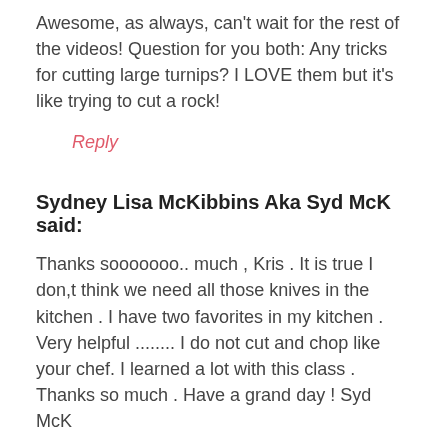Awesome, as always, can't wait for the rest of the videos! Question for you both: Any tricks for cutting large turnips? I LOVE them but it's like trying to cut a rock!
Reply
Sydney Lisa McKibbins Aka Syd McK said:
Thanks sooooooo.. much , Kris . It is true I don,t think we need all those knives in the kitchen . I have two favorites in my kitchen . Very helpful ........ I do not cut and chop like your chef. I learned a lot with this class . Thanks so much . Have a grand day ! Syd McK
Reply